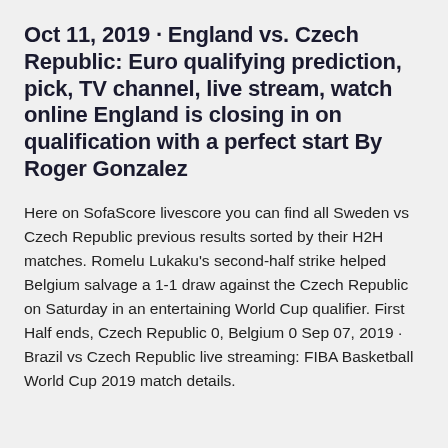Oct 11, 2019 · England vs. Czech Republic: Euro qualifying prediction, pick, TV channel, live stream, watch online England is closing in on qualification with a perfect start By Roger Gonzalez
Here on SofaScore livescore you can find all Sweden vs Czech Republic previous results sorted by their H2H matches. Romelu Lukaku's second-half strike helped Belgium salvage a 1-1 draw against the Czech Republic on Saturday in an entertaining World Cup qualifier. First Half ends, Czech Republic 0, Belgium 0 Sep 07, 2019 · Brazil vs Czech Republic live streaming: FIBA Basketball World Cup 2019 match details.